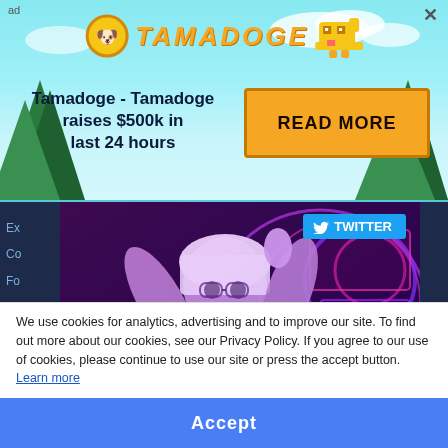[Figure (screenshot): Tamadoge advertisement banner with logo, tagline 'Tamadoge - Tamadoge raises $500k in last 24 hours' and a READ MORE button]
[Figure (screenshot): Twitter/X embedded tweet showing a man in traditional UAE headwear interacting with glowing digital screens, with Twitter badge overlay]
gulfnews.com
Dubai regulator issues rules for virtual asset marketing, advertising
19 (comments) 72 (likes)
We use cookies for analytics, advertising and to improve our site. To find out more about our cookies, see our Privacy Policy. If you agree to our use of cookies, please continue to use our site or press the accept button. Learn more
Accept